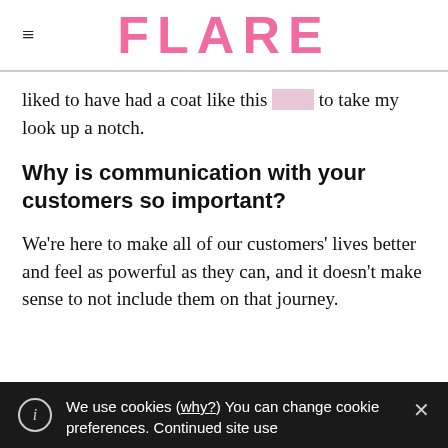FLARE
liked to have had a coat like this to take my look up a notch.
Why is communication with your customers so important?
We're here to make all of our customers' lives better and feel as powerful as they can, and it doesn't make sense to not include them on that journey.
We use cookies (why?) You can change cookie preferences. Continued site use